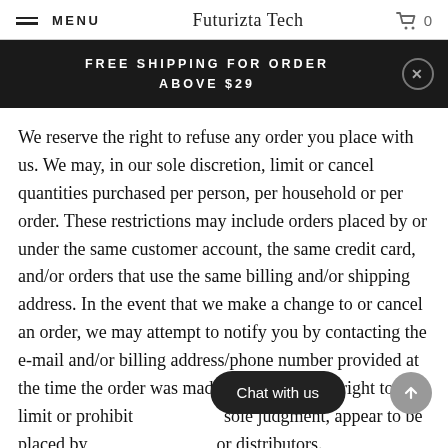MENU | Futurizta Tech | 0
FREE SHIPPING FOR ORDER ABOVE $29
We reserve the right to refuse any order you place with us. We may, in our sole discretion, limit or cancel quantities purchased per person, per household or per order. These restrictions may include orders placed by or under the same customer account, the same credit card, and/or orders that use the same billing and/or shipping address. In the event that we make a change to or cancel an order, we may attempt to notify you by contacting the e-mail and/or billing address/phone number provided at the time the order was made. We reserve the right to limit or prohibit orders that, in our sole judgment, appear to be placed by dealers, resellers or distributors.